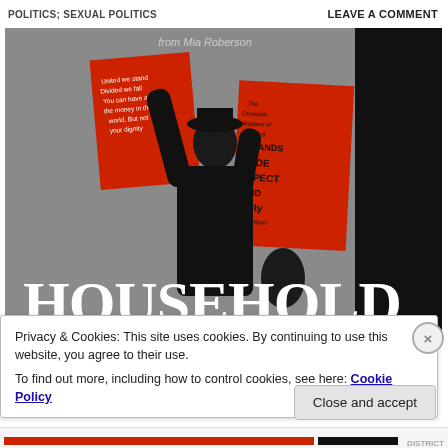POLITICS; SEXUAL POLITICS
LEAVE A COMMENT
[Figure (photo): Book cover image showing a person in dark clothing holding two red protest signs. The sign on the left reads 'United we stand, Divided we fall, You can have all the money in the world, But not your dignity'. The sign on the right reads 'The Domestic Workers of America DEMANDS PRIDE RESPECT AND DIGNITY'. Large white text at the bottom reads HOUSEHOLD. Author name partially visible at top.]
Privacy & Cookies: This site uses cookies. By continuing to use this website, you agree to their use.
To find out more, including how to control cookies, see here: Cookie Policy
Close and accept